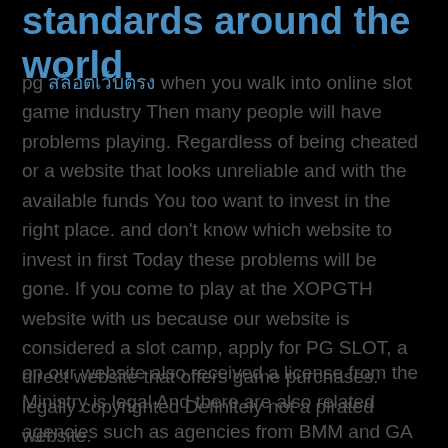standards around the world.
pg สล็อตเว็บตรง when you walk into online slot game industry Then many people will have problems playing. Regardless of being cheated or a website that looks unreliable and with the available funds You too want to invest in the right place. and don't know which website to invest in first Today these problems will be gone. If you come to play at the XOPGTH website with us because our website is considered a slot camp, apply for PG SLOT, a direct website that offers game purchases. legally copyrighted Definitely not a pirated website.
on our website also received a license from the Ministry is legal And there are also related agencies such as agencies from BMM and GA that